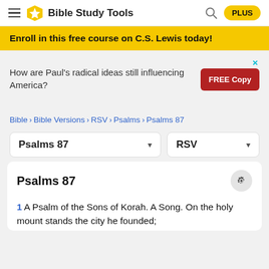Bible Study Tools — PLUS
Enroll in this free course on C.S. Lewis today!
[Figure (other): Advertisement banner: 'How are Paul's radical ideas still influencing America?' with a red FREE Copy button and an X close icon]
Bible > Bible Versions > RSV > Psalms > Psalms 87
Psalms 87 (dropdown) | RSV (dropdown)
Psalms 87
1 A Psalm of the Sons of Korah. A Song. On the holy mount stands the city he founded;